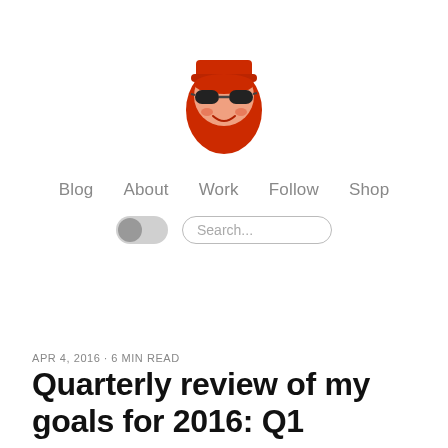[Figure (illustration): Cartoon avatar of a bearded person with red beard wearing black sunglasses and a red cap, cartoon/illustrated style]
Blog   About   Work   Follow   Shop
APR 4, 2016 · 6 MIN READ
Quarterly review of my goals for 2016: Q1